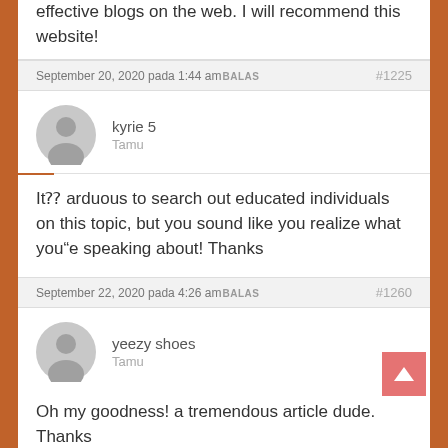effective blogs on the web. I will recommend this website!
September 20, 2020 pada 1:44 amBALAS #1225
kyrie 5
Tamu
Itâ arduous to search out educated individuals on this topic, but you sound like you realize what youâe speaking about! Thanks
September 22, 2020 pada 4:26 amBALAS #1260
yeezy shoes
Tamu
Oh my goodness! a tremendous article dude. Thanks